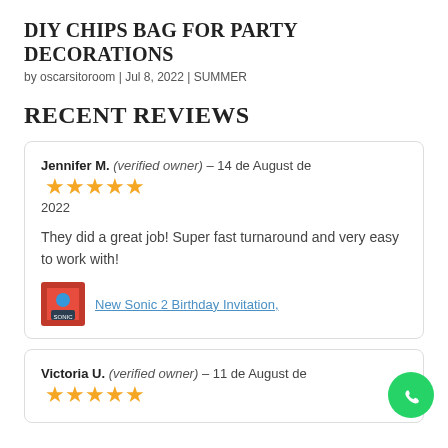DIY CHIPS BAG FOR PARTY DECORATIONS
by oscarsitoroom | Jul 8, 2022 | SUMMER
RECENT REVIEWS
Jennifer M. (verified owner) – 14 de August de 2022 ★★★★★
They did a great job! Super fast turnaround and very easy to work with!
New Sonic 2 Birthday Invitation,
Victoria U. (verified owner) – 11 de August de ★★★★★